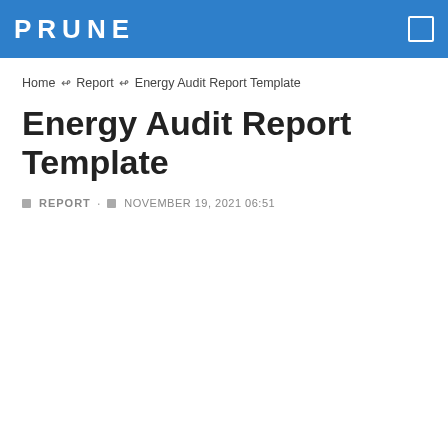PRUNE
Home ↫ Report ↫ Energy Audit Report Template
Energy Audit Report Template
REPORT · NOVEMBER 19, 2021 06:51